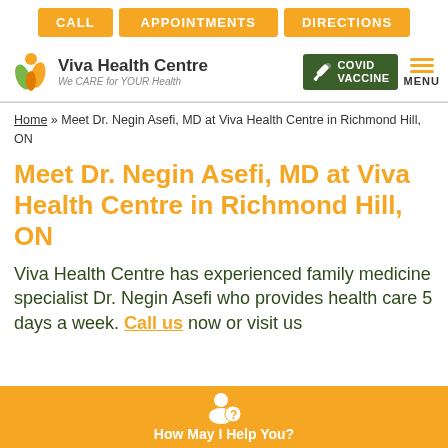CALL  APPOINTMENTS  DIRECTIONS
[Figure (logo): Viva Health Centre logo with tagline 'We CARE for YOUR Health', COVID Vaccine badge, and MENU hamburger icon]
Home » Meet Dr. Negin Asefi, MD at Viva Health Centre in Richmond Hill, ON
Meet Dr. Negin Asefi, MD at Viva Health Centre in Richmond Hill, ON
Viva Health Centre has experienced family medicine specialist Dr. Negin Asefi who provides health care 5 days a week. Call us now or visit us
How May I Help You?